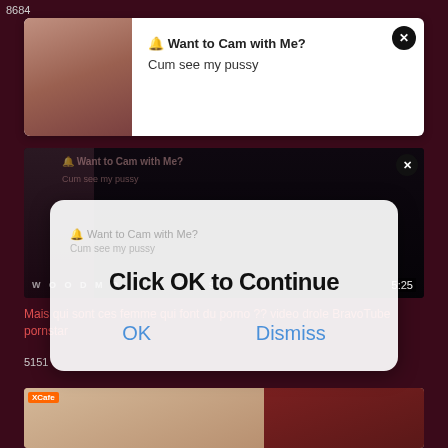8684
[Figure (screenshot): Notification bar with image thumbnail on left showing a person, and text 'Want to Cam with Me? Cum see my pussy' on white background with close button]
[Figure (screenshot): Dark video thumbnail with watermark text 'WOODMANCASTINGX' and duration '5:25', with close button and overlaid modal dialog saying 'Click OK to Continue' with OK and Dismiss buttons]
Mais qui sont ces femme qui font du porno ?? video drole BravoTube pornstar
5151
[Figure (screenshot): Bottom video thumbnail split into two sections, left showing a person, right showing a close-up, with XCafe label]